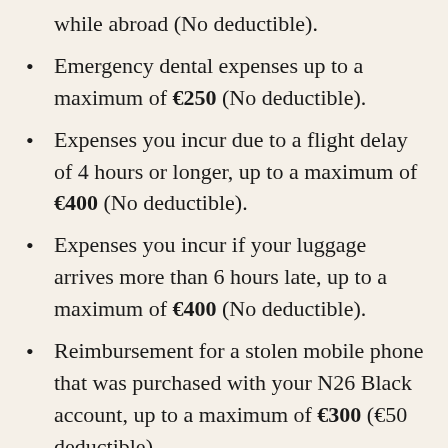while abroad (No deductible).
Emergency dental expenses up to a maximum of €250 (No deductible).
Expenses you incur due to a flight delay of 4 hours or longer, up to a maximum of €400 (No deductible).
Expenses you incur if your luggage arrives more than 6 hours late, up to a maximum of €400 (No deductible).
Reimbursement for a stolen mobile phone that was purchased with your N26 Black account, up to a maximum of €300 (€50 deductible).
Reimbursement for stolen cash if you get